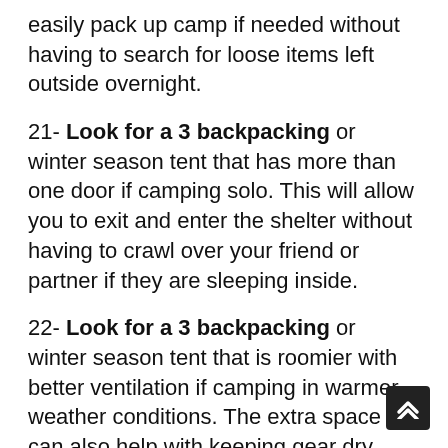easily pack up camp if needed without having to search for loose items left outside overnight.
21- Look for a 3 backpacking or winter season tent that has more than one door if camping solo. This will allow you to exit and enter the shelter without having to crawl over your friend or partner if they are sleeping inside.
22- Look for a 3 backpacking or winter season tent that is roomier with better ventilation if camping in warmer weather conditions. The extra space can also help with keeping gear dry during rainstorms